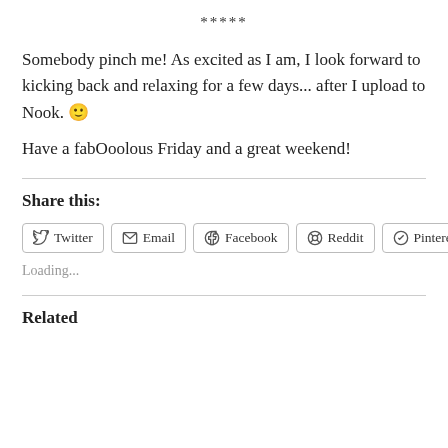*****
Somebody pinch me!  As excited as I am, I look forward to kicking back and relaxing for a few days... after I upload to Nook.  🙂
Have a fabOoolous Friday and a great weekend!
Share this:
Twitter  Email  Facebook  Reddit  Pinterest
Loading...
Related